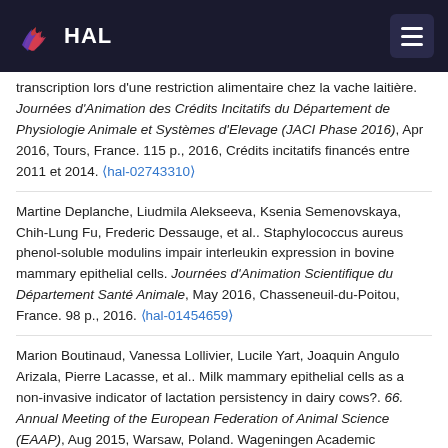HAL
transcription lors d’une restriction alimentaire chez la vache laitière. Journées d’Animation des Crédits Incitatifs du Département de Physiologie Animale et Systèmes d’Elevage (JACI Phase 2016), Apr 2016, Tours, France. 115 p., 2016, Crédits incitatifs financés entre 2011 et 2014. ⟨hal-02743310⟩
Martine Deplanche, Liudmila Alekseeva, Ksenia Semenovskaya, Chih-Lung Fu, Frederic Dessauge, et al.. Staphylococcus aureus phenol-soluble modulins impair interleukin expression in bovine mammary epithelial cells. Journées d’Animation Scientifique du Département Santé Animale, May 2016, Chasseneuil-du-Poitou, France. 98 p., 2016. ⟨hal-01454659⟩
Marion Boutinaud, Vanessa Lollivier, Lucile Yart, Joaquin Angulo Arizala, Pierre Lacasse, et al.. Milk mammary epithelial cells as a non-invasive indicator of lactation persistency in dairy cows?. 66. Annual Meeting of the European Federation of Animal Science (EAAP), Aug 2015, Warsaw, Poland. Wageningen Academic Publishers, Annual Meeting of the